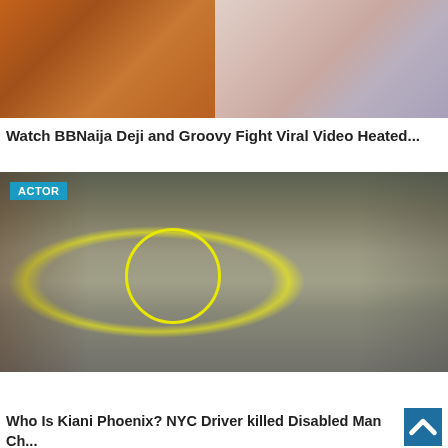[Figure (photo): Two-panel image: left panel shows a person in an orange hoodie/jacket, right panel shows a person in a pink/lavender jacket with a yellow bag]
Watch BBNaija Deji and Groovy Fight Viral Video Heated...
[Figure (photo): Street surveillance camera footage showing a sidewalk scene with people, a dark Honda car, a yellow circle highlighting two individuals appearing to fight or struggle, and an ACTOR badge in the top-left corner]
Who Is Kiani Phoenix? NYC Driver killed Disabled Man Ch...